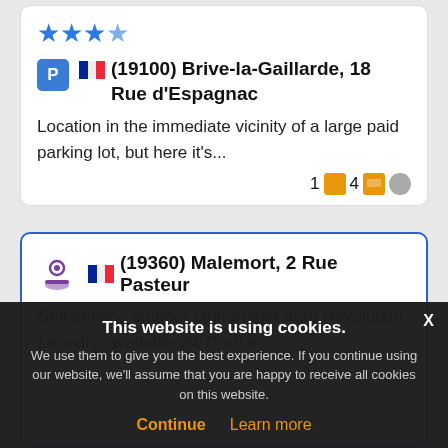[Figure (screenshot): Card listing for (19100) Brive-la-Gaillarde, 18 Rue d'Espagnac with 3-star rating, parking icon, French flag, description about parking lot, and meta icons]
[Figure (screenshot): Card listing for (19360) Malemort, 2 Rue Pasteur, self-service outdoor laundromat from Revolution Laundry available 24/7, highlighted with blue border]
This website is using cookies. We use them to give you the best experience. If you continue using our website, we'll assume that you are happy to receive all cookies on this website.
Continue   Learn more